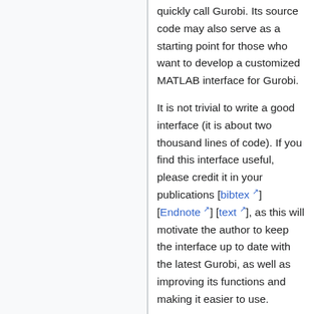quickly call Gurobi. Its source code may also serve as a starting point for those who want to develop a customized MATLAB interface for Gurobi.
It is not trivial to write a good interface (it is about two thousand lines of code). If you find this interface useful, please credit it in your publications [bibtex] [Endnote] [text], as this will motivate the author to keep the interface up to date with the latest Gurobi, as well as improving its functions and making it easier to use.
Current version 1.61 was published November 16, 2011.